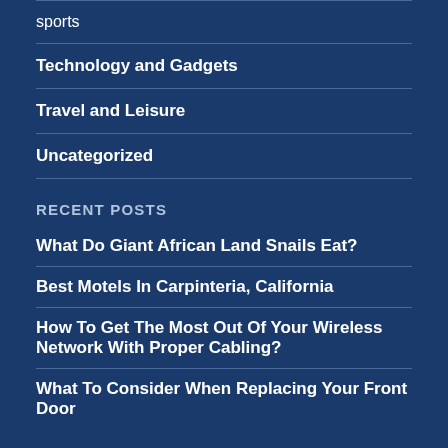sports
Technology and Gadgets
Travel and Leisure
Uncategorized
RECENT POSTS
What Do Giant African Land Snails Eat?
Best Motels In Carpinteria, California
How To Get The Most Out Of Your Wireless Network With Proper Cabling?
What To Consider When Replacing Your Front Door